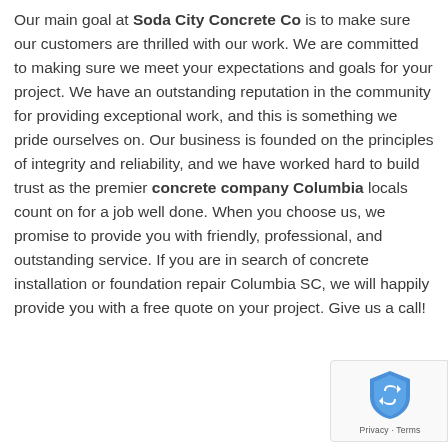Our main goal at Soda City Concrete Co is to make sure our customers are thrilled with our work. We are committed to making sure we meet your expectations and goals for your project. We have an outstanding reputation in the community for providing exceptional work, and this is something we pride ourselves on. Our business is founded on the principles of integrity and reliability, and we have worked hard to build trust as the premier concrete company Columbia locals count on for a job well done. When you choose us, we promise to provide you with friendly, professional, and outstanding service. If you are in search of concrete installation or foundation repair Columbia SC, we will happily provide you with a free quote on your project. Give us a call!
[Figure (logo): Google reCAPTCHA badge with shield logo and Privacy - Terms text]